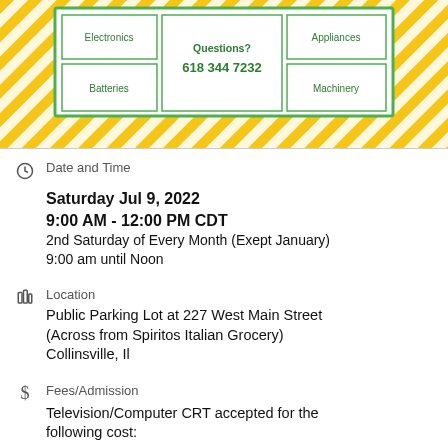[Figure (infographic): Yellow and green striped background with a white bordered green box containing a grid of category labels: Electronics, Batteries, Appliances, Machinery, and a center cell with Questions? 618 344 7232]
Date and Time
Saturday Jul 9, 2022
9:00 AM - 12:00 PM CDT
2nd Saturday of Every Month (Exept January)
9:00 am until Noon
Location
Public Parking Lot at 227 West Main Street
(Across from Spiritos Italian Grocery)
Collinsville, Il
Fees/Admission
Television/Computer CRT accepted for the following cost: